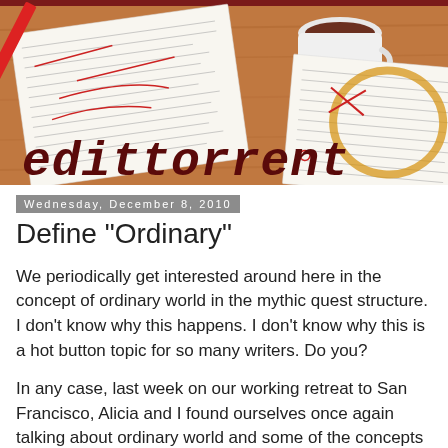[Figure (illustration): Blog header image showing a wooden desk with papers covered in red editorial markup, a coffee cup, and a coffee ring stain on paper. The blog title 'edittorrent' is shown in italic serif/monospace font in dark red at the bottom left of the header image.]
Wednesday, December 8, 2010
Define "Ordinary"
We periodically get interested around here in the concept of ordinary world in the mythic quest structure. I don't know why this happens. I don't know why this is a hot button topic for so many writers. Do you?
In any case, last week on our working retreat to San Francisco, Alicia and I found ourselves once again talking about ordinary world and some of the concepts and comments we've kicked around here over the years. One concept in particular kept recurring -- that is, the difference